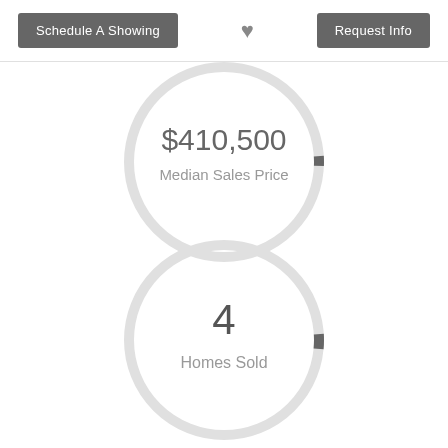Schedule A Showing | ♥ | Request Info
[Figure (donut-chart): Median Sales Price]
[Figure (donut-chart): Homes Sold]